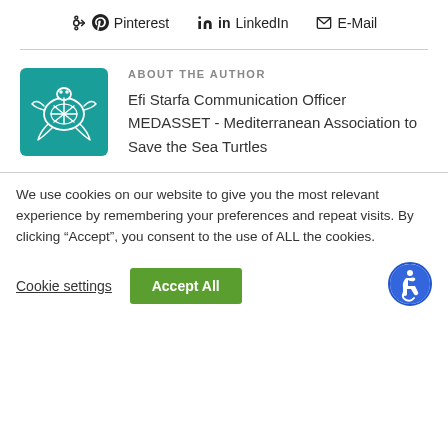Pinterest  LinkedIn  E-Mail
ABOUT THE AUTHOR
[Figure (logo): Teal square logo with a white sea turtle line drawing]
Efi Starfa Communication Officer MEDASSET - Mediterranean Association to Save the Sea Turtles
We use cookies on our website to give you the most relevant experience by remembering your preferences and repeat visits. By clicking “Accept”, you consent to the use of ALL the cookies.
Cookie settings
Accept All